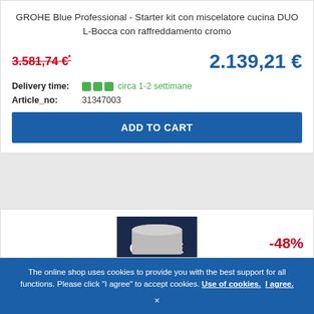GROHE Blue Professional - Starter kit con miscelatore cucina DUO L-Bocca con raffreddamento cromo
3.581,74 €*
2.139,21 €
Delivery time: circa 1-2 settimane
Article_no: 31347003
ADD TO CART
[Figure (logo): GROHE brand logo — dark navy background with GROHE text and wave symbol]
-48%
The online shop uses cookies to provide you with the best support for all functions. Please click "I agree" to accept cookies. Use of cookies. I agree.
×